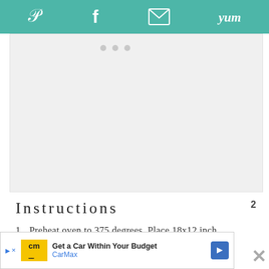[Figure (screenshot): Teal social sharing toolbar with Pinterest, Facebook, email, and Yummly icons in white]
[Figure (other): Gray placeholder advertisement area with three dots at top]
Instructions
Preheat oven to 375 degrees. Place 18x12 inch sheet of heavy-duty foil on baking sheet. Fold sides to form...
[Figure (infographic): CarMax advertisement banner: Get a Car Within Your Budget]
[Figure (other): Floating UI buttons: heart favorite (blue circle), count 2, share button (blue circle), and X close button]